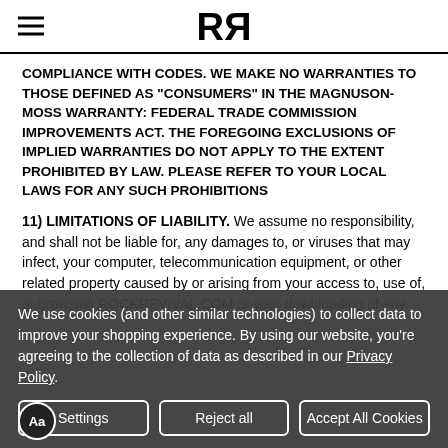RR (Rock Revival logo)
COMPLIANCE WITH CODES. WE MAKE NO WARRANTIES TO THOSE DEFINED AS "CONSUMERS" IN THE MAGNUSON-MOSS WARRANTY: FEDERAL TRADE COMMISSION IMPROVEMENTS ACT. THE FOREGOING EXCLUSIONS OF IMPLIED WARRANTIES DO NOT APPLY TO THE EXTENT PROHIBITED BY LAW. PLEASE REFER TO YOUR LOCAL LAWS FOR ANY SUCH PROHIBITIONS
11) LIMITATIONS OF LIABILITY. We assume no responsibility, and shall not be liable for, any damages to, or viruses that may infect, your computer, telecommunication equipment, or other related property caused by or arising from your access to, use of, or browsing ROCKREVIVAL.COM or your downloading of any
We use cookies (and other similar technologies) to collect data to improve your shopping experience. By using our website, you're agreeing to the collection of data as described in our Privacy Policy.